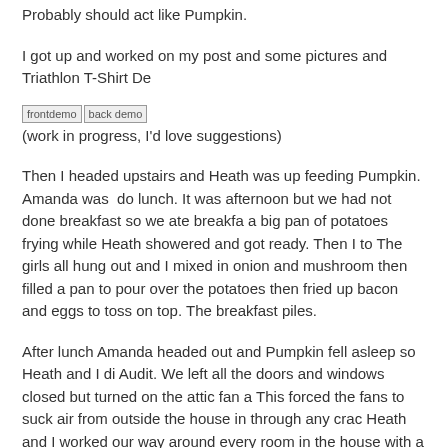Probably should act like Pumpkin.
I got up and worked on my post and some pictures and Triathlon T-Shirt De
[Figure (other): Two broken image placeholders labeled 'frontdemo' and 'back demo']
(work in progress, I'd love suggestions)
Then I headed upstairs and Heath was up feeding Pumpkin. Amanda was up do lunch. It was afternoon but we had not done breakfast so we ate breakfa a big pan of potatoes frying while Heath showered and got ready. Then I to The girls all hung out and I mixed in onion and mushroom then filled a pan to pour over the potatoes then fried up bacon and eggs to toss on top. The breakfast piles.
After lunch Amanda headed out and Pumpkin fell asleep so Heath and I di Audit. We left all the doors and windows closed but turned on the attic fan a This forced the fans to suck air from outside the house in through any crac Heath and I worked our way around every room in the house with a contain
[Figure (photo): Photo of wood paneling/wall with a hand visible at lower right]